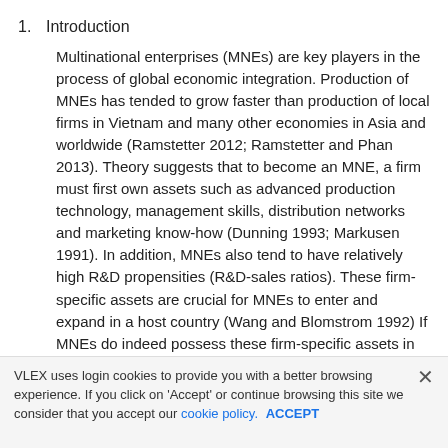1. Introduction
Multinational enterprises (MNEs) are key players in the process of global economic integration. Production of MNEs has tended to grow faster than production of local firms in Vietnam and many other economies in Asia and worldwide (Ramstetter 2012; Ramstetter and Phan 2013). Theory suggests that to become an MNE, a firm must first own assets such as advanced production technology, management skills, distribution networks and marketing know-how (Dunning 1993; Markusen 1991). In addition, MNEs also tend to have relatively high R&D propensities (R&D-sales ratios). These firm-specific assets are crucial for MNEs to enter and expand in a host country (Wang and Blomstrom 1992) If MNEs do indeed possess these firm-specific assets in relatively large
VLEX uses login cookies to provide you with a better browsing experience. If you click on 'Accept' or continue browsing this site we consider that you accept our cookie policy. ACCEPT